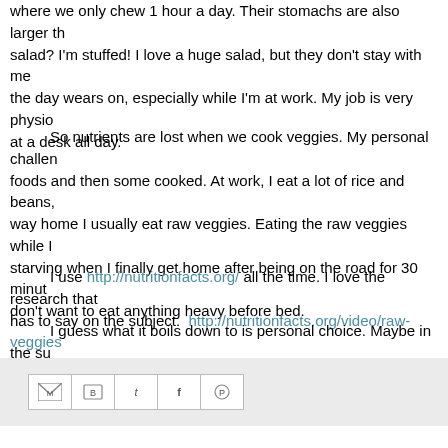where we only chew 1 hour a day.  Their stomachs are also larger than ours which means they can eat a huge salad?  I'm stuffed!  I love a huge salad, but they don't stay with me for long as the day wears on, especially while I'm at work.  My job is very physically taxing, I don't sit at a desk all day.
So nutrients are lost when we cook veggies.  My personal challenge is to eat some raw foods and then some cooked.  At work, I eat a lot of rice and beans, and fruits.  On the way home I usually eat raw veggies.  Eating the raw veggies while I drive keeps me from being starving when I finally get home after being on the road for 30 minutes.  At night I don't want to eat anything heavy before bed.
I use http://nutritionfacts.org/ all the time.  I love the research that Dr. Greger has to say on the subject.  http://nutritionfacts.org/video/raw-veggies
I guess what it boils down to is personal choice.  Maybe in the summer I will eat more raw foods.  I also believe that we need to be well rounded and eat a mix of raw and cooked.
[Figure (other): Social sharing icons bar: Gmail, Blogger, Twitter, Facebook, Pinterest]